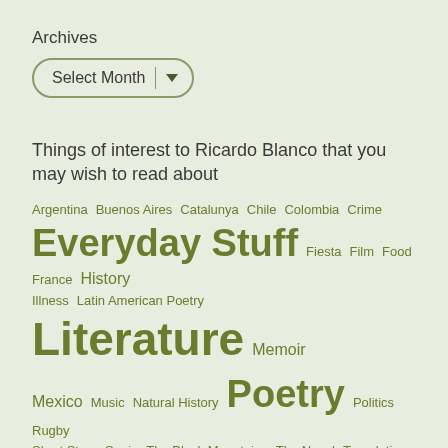Archives
[Figure (other): Dropdown selector UI element labeled 'Select Month' with a rounded pill border and dropdown arrow]
Things of interest to Ricardo Blanco that you may wish to read about
Argentina  Buenos Aires  Catalunya  Chile  Colombia  Crime  Everyday Stuff  Fiesta  Film  Food  France  History  Illness  Latin American Poetry  Literature  Memoir  Mexico  Music  Natural History  Poetry  Politics  Rugby  Short Story  Spain  The Black Mountains  The Novel  Translation  Travel  Visual Arts  Wales